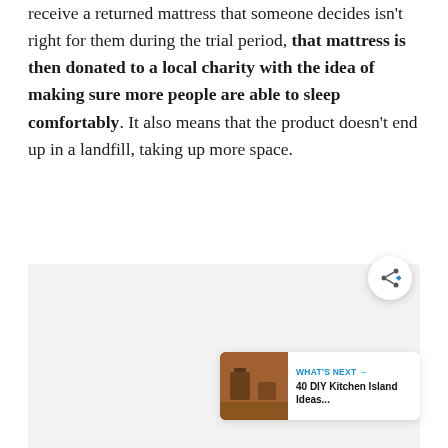receive a returned mattress that someone decides isn't right for them during the trial period, that mattress is then donated to a local charity with the idea of making sure more people are able to sleep comfortably. It also means that the product doesn't end up in a landfill, taking up more space.
[Figure (other): Gray placeholder box with a share button icon (circle with network/share symbol) and a 'What's Next' card showing a thumbnail image and text '40 DIY Kitchen Island Ideas...']